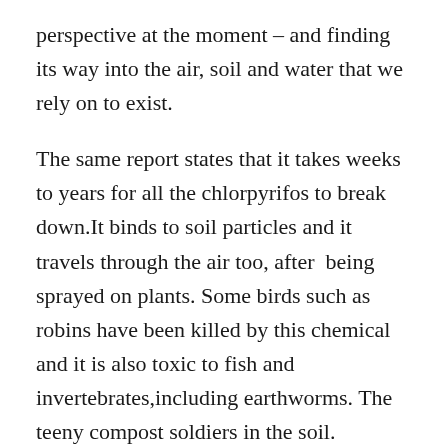perspective at the moment – and finding its way into the air, soil and water that we rely on to exist.
The same report states that it takes weeks to years for all the chlorpyrifos to break down.It binds to soil particles and it travels through the air too, after  being sprayed on plants. Some birds such as robins have been killed by this chemical and it is also toxic to fish and invertebrates,including earthworms. The teeny compost soldiers in the soil.
Final punch: very toxic to bees. That too. Bees have been on the decline (elegantly put) for a few years now. They pollinate the food we grow. We have fruit and other foods because of the hard pollination work bees